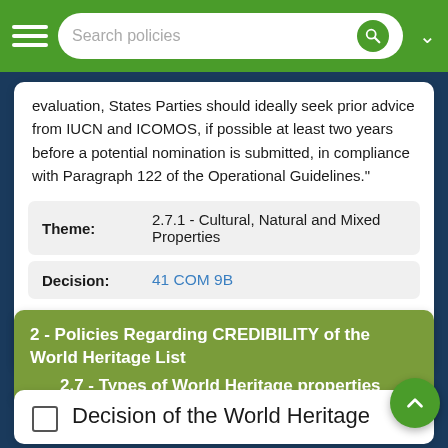Search policies
evaluation, States Parties should ideally seek prior advice from IUCN and ICOMOS, if possible at least two years before a potential nomination is submitted, in compliance with Paragraph 122 of the Operational Guidelines."
| Field | Value |
| --- | --- |
| Theme: | 2.7.1 - Cultural, Natural and Mixed Properties |
| Decision: | 41 COM 9B |
2 - Policies Regarding CREDIBILITY of the World Heritage List
2.7 - Types of World Heritage properties
Decision of the World Heritage